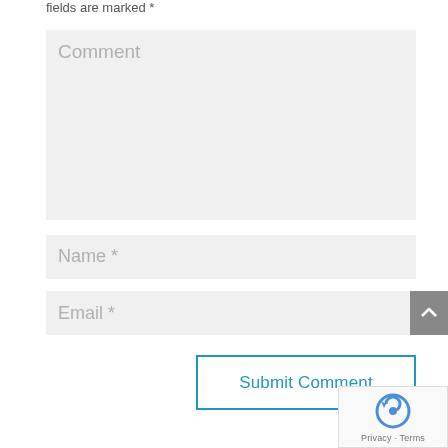fields are marked *
Comment
Name *
Email *
Submit Comment